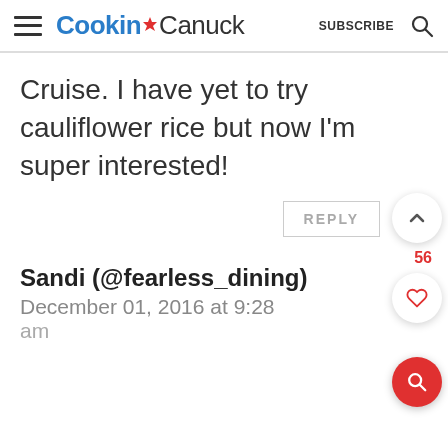Cookin Canuck - SUBSCRIBE
Cruise. I have yet to try cauliflower rice but now I'm super interested!
Sandi (@fearless_dining)
December 01, 2016 at 9:28
am